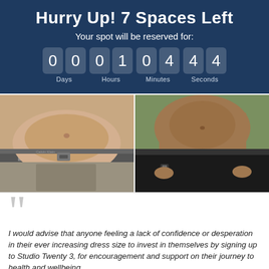Hurry Up! 7 Spaces Left
Your spot will be reserved for:
00 01 04 44 Days Hours Minutes Seconds
[Figure (photo): Before and after fitness transformation photos showing torso comparison]
I would advise that anyone feeling a lack of confidence or desperation in their ever increasing dress size to invest in themselves by signing up to Studio Twenty 3, for encouragement and support on their journey to health and wellbeing.